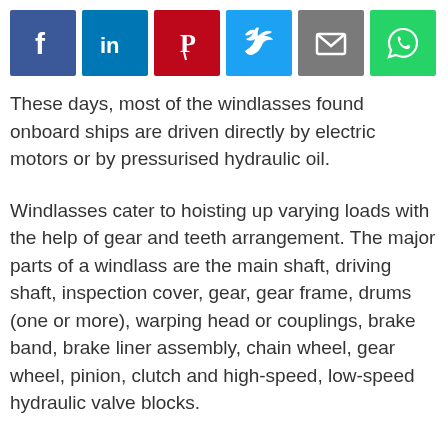[Figure (infographic): Social media sharing icons row: Facebook (blue), LinkedIn (blue), Pinterest (red), Twitter (blue), Email (grey), WhatsApp (green)]
These days, most of the windlasses found onboard ships are driven directly by electric motors or by pressurised hydraulic oil.
Windlasses cater to hoisting up varying loads with the help of gear and teeth arrangement. The major parts of a windlass are the main shaft, driving shaft, inspection cover, gear, gear frame, drums (one or more), warping head or couplings, brake band, brake liner assembly, chain wheel, gear wheel, pinion, clutch and high-speed, low-speed hydraulic valve blocks.
Regular inspection of external and moving parts of